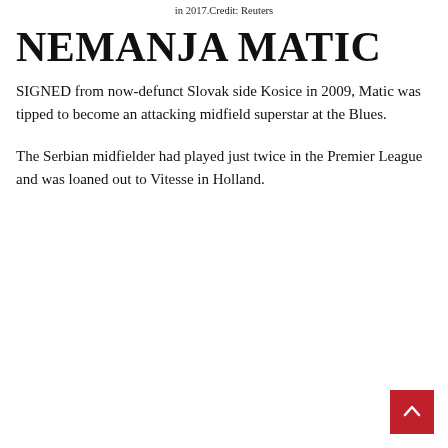in 2017.Credit: Reuters
NEMANJA MATIC
SIGNED from now-defunct Slovak side Kosice in 2009, Matic was tipped to become an attacking midfield superstar at the Blues.
The Serbian midfielder had played just twice in the Premier League and was loaned out to Vitesse in Holland.